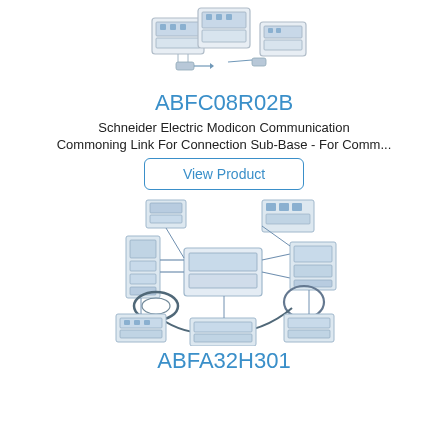[Figure (illustration): Schneider Electric Modicon communication modules top view illustration showing three connected sub-base units]
ABFC08R02B
Schneider Electric Modicon Communication
Commoning Link For Connection Sub-Base - For Comm...
View Product
[Figure (illustration): Schneider Electric Modicon system diagram showing multiple connected modules, cables, and sub-base units in an exploded view]
ABFA32H301